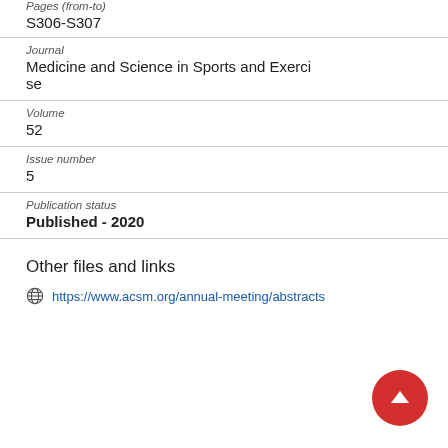Pages (from-to)
S306-S307
Journal
Medicine and Science in Sports and Exercise
Volume
52
Issue number
5
Publication status
Published - 2020
Other files and links
https://www.acsm.org/annual-meeting/abstracts